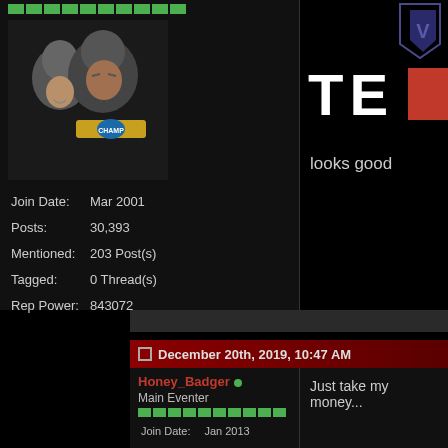[Figure (photo): Avatar photo of a man with a woman, man wearing a championship belt]
Join Date: Mar 2001
Posts: 30,393
Mentioned: 203 Post(s)
Tagged: 0 Thread(s)
Rep Power: 843072
[Figure (photo): Partial logo/banner with letters T E and red block]
looks good
December 20th, 2019, 10:47 AM
Honey_Badger
Main Eventer
Join Date: Jan 2013
Location: Searching for The Law
Posts: 5,218
Just take my money...